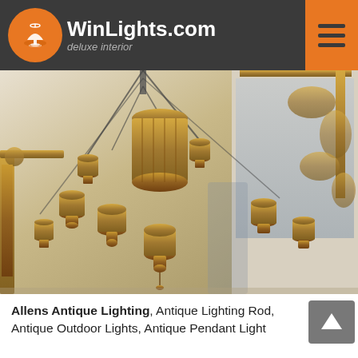WinLights.com deluxe interior
[Figure (photo): Close-up photograph of an ornate antique chandelier with gilded bronze bell-shaped pendants and decorative elements, with mirrors and decorative frames visible in the background]
Allens Antique Lighting, Antique Lighting Rod, Antique Outdoor Lights, Antique Pendant Light